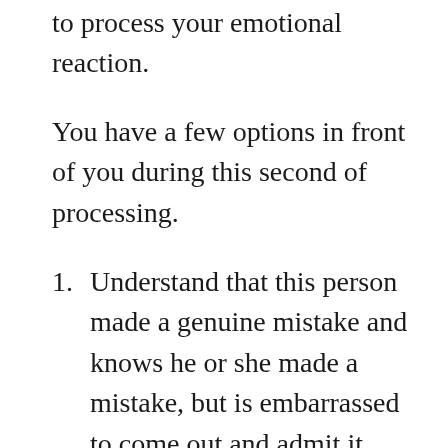ascribing intent, take a second to process your emotional reaction.
You have a few options in front of you during this second of processing.
1. Understand that this person made a genuine mistake and knows he or she made a mistake, but is embarrassed to come out and admit it.
2. Understand that this person may be